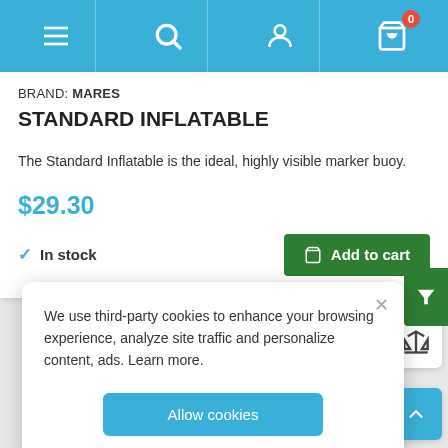[Figure (screenshot): Mobile e-commerce navigation bar with hamburger menu, search, user, and cart (0 items) icons on blue background]
BRAND: MARES
STANDARD INFLATABLE
The Standard Inflatable is the ideal, highly visible marker buoy.
$29.30
In stock
Add to cart
We use third-party cookies to enhance your browsing experience, analyze site traffic and personalize content, ads. Learn more.
Allow cookies